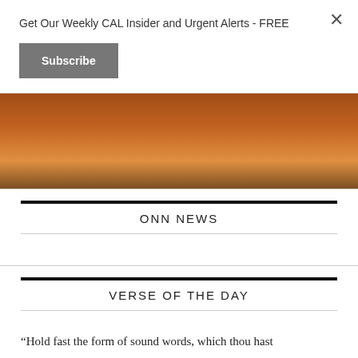Get Our Weekly CAL Insider and Urgent Alerts - FREE
Subscribe
[Figure (photo): Sunset landscape background image with dark silhouette terrain and orange/red sky]
ONN NEWS
VERSE OF THE DAY
“Hold fast the form of sound words, which thou hast